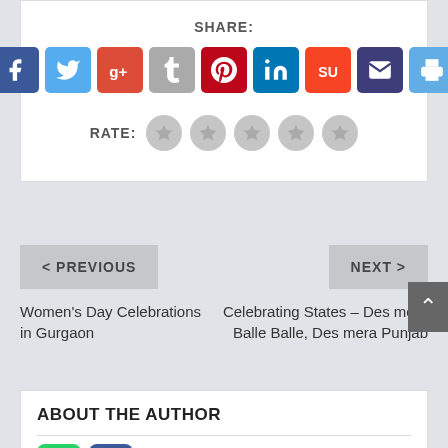SHARE:
[Figure (infographic): Row of 9 social share icon buttons: Facebook (blue), Twitter (light blue), Google+ (red), Tumblr (gray), Pinterest (dark red), LinkedIn (blue), StumbleUpon (orange-red), Email (dark blue), Print (light blue)]
RATE:
[Figure (infographic): Five gray circular star rating buttons]
< PREVIOUS
NEXT >
Women's Day Celebrations in Gurgaon
Celebrating States – Des mera Balle Balle, Des mera Punjab
ABOUT THE AUTHOR
[Figure (infographic): WhatsApp share button (green) and Facebook share button (blue) with 'Share' text label]